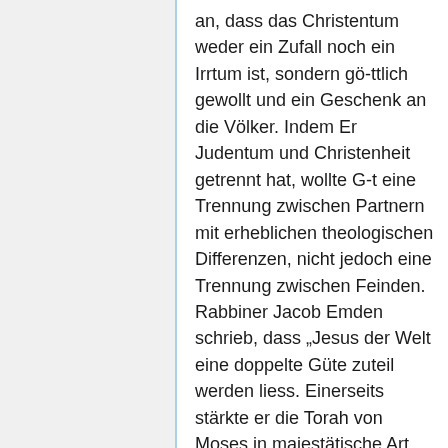an, dass das Christentum weder ein Zufall noch ein Irrtum ist, sondern gö-ttlich gewollt und ein Geschenk an die Völker. Indem Er Judentum und Christenheit getrennt hat, wollte G-t eine Trennung zwischen Partnern mit erheblichen theologischen Differenzen, nicht jedoch eine Trennung zwischen Feinden. Rabbiner Jacob Emden schrieb, dass „Jesus der Welt eine doppelte Güte zuteil werden liess. Einerseits stärkte er die Torah von Moses in majestätische Art … und keiner unserer Weisen sprach jemals nachdrücklicher über die Unveränderlichkeit der Torah. Andererseits beseitigte er die Götzen der Völker und